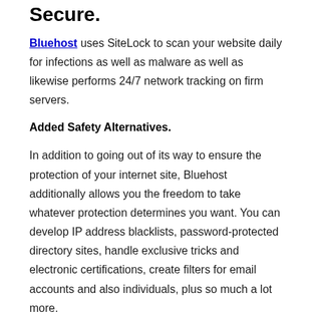Secure.
Bluehost uses SiteLock to scan your website daily for infections as well as malware as well as likewise performs 24/7 network tracking on firm servers.
Added Safety Alternatives.
In addition to going out of its way to ensure the protection of your internet site, Bluehost additionally allows you the freedom to take whatever protection determines you want. You can develop IP address blacklists, password-protected directory sites, handle exclusive tricks and electronic certifications, create filters for email accounts and also individuals, plus so much a lot more.
The only feasible downside to Bluehost's security is that the business does backups at its very own discretion.
Therefore, you need to do your own everyday backups for full